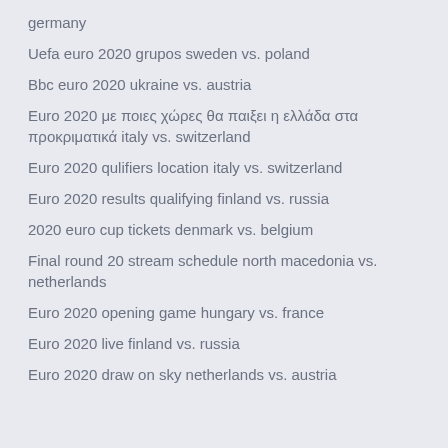germany
Uefa euro 2020 grupos sweden vs. poland
Bbc euro 2020 ukraine vs. austria
Euro 2020 με ποιες χώρες θα παιξει η ελλάδα στα προκριματικά italy vs. switzerland
Euro 2020 qulifiers location italy vs. switzerland
Euro 2020 results qualifying finland vs. russia
2020 euro cup tickets denmark vs. belgium
Final round 20 stream schedule north macedonia vs. netherlands
Euro 2020 opening game hungary vs. france
Euro 2020 live finland vs. russia
Euro 2020 draw on sky netherlands vs. austria